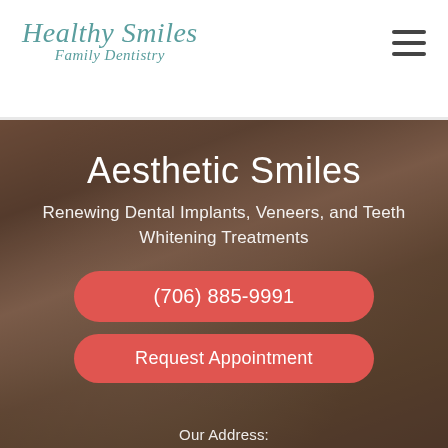[Figure (logo): Healthy Smiles Family Dentistry logo in teal italic script font]
[Figure (photo): Woman with brown hair smiling, hand in hair, dark overlay background]
Aesthetic Smiles
Renewing Dental Implants, Veneers, and Teeth Whitening Treatments
(706) 885-9991
Request Appointment
Our Address: